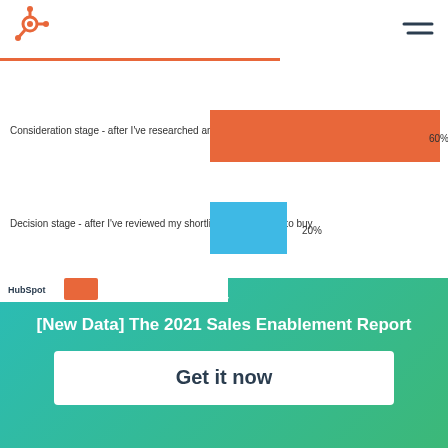HubSpot logo and navigation
[Figure (bar-chart): When do buyers want to connect with sales?]
[New Data] The 2021 Sales Enablement Report
Get it now